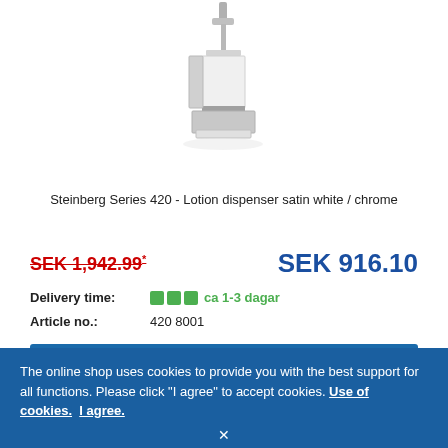[Figure (photo): Steinberg Series 420 lotion dispenser in satin white and chrome finish, square shape with pump top, wall-mounted holder.]
Steinberg Series 420 - Lotion dispenser satin white / chrome
SEK 1,942.99* SEK 916.10
Delivery time: ca 1-3 dagar
Article no.: 420 8001
ADD TO CART
The online shop uses cookies to provide you with the best support for all functions. Please click "I agree" to accept cookies. Use of cookies. I agree.